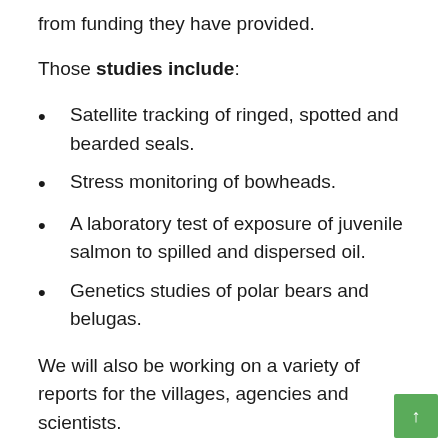from funding they have provided.
Those studies include:
Satellite tracking of ringed, spotted and bearded seals.
Stress monitoring of bowheads.
A laboratory test of exposure of juvenile salmon to spilled and dispersed oil.
Genetics studies of polar bears and belugas.
We will also be working on a variety of reports for the villages, agencies and scientists.
Those reports include: